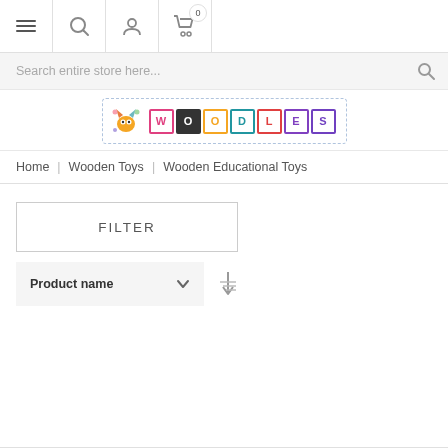Navigation bar with menu, search, account, and cart (0 items) icons
Search entire store here...
[Figure (logo): Woodles toy store logo with colorful letter blocks spelling WOODLES and cartoon animal characters]
Home | Wooden Toys | Wooden Educational Toys
FILTER
Product name  ▾